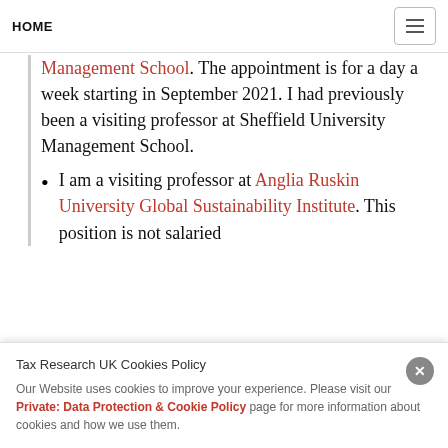HOME
Management School. The appointment is for a day a week starting in September 2021. I had previously been a visiting professor at Sheffield University Management School.
I am a visiting professor at Anglia Ruskin University Global Sustainability Institute. This position is not salaried
Tax Research UK Cookies Policy
Our Website uses cookies to improve your experience. Please visit our Private: Data Protection & Cookie Policy page for more information about cookies and how we use them.